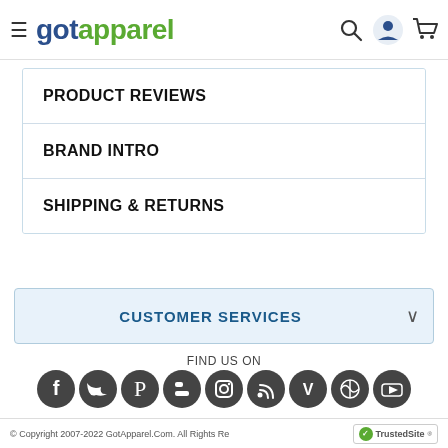gotapparel
PRODUCT REVIEWS
BRAND INTRO
SHIPPING & RETURNS
CUSTOMER SERVICES
FIND US ON
[Figure (infographic): Row of social media icons: Facebook, Twitter, Pinterest, Blogger, Instagram, RSS, Vine, WordPress, YouTube]
© Copyright 2007-2022 GotApparel.Com. All Rights Reserved. TrustedSite